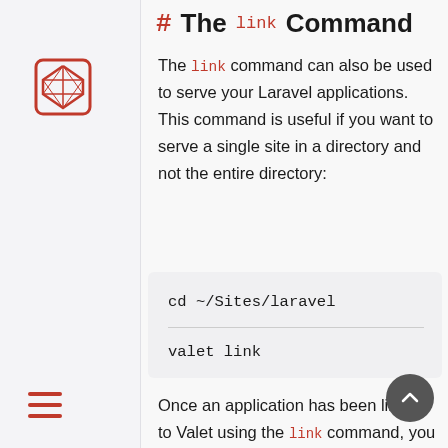[Figure (logo): Laravel framework logo — red geometric diamond shape outline]
# The link Command
The link command can also be used to serve your Laravel applications. This command is useful if you want to serve a single site in a directory and not the entire directory:
cd ~/Sites/laravel

valet link
Once an application has been linked to Valet using the link command, you may access the application using its directory